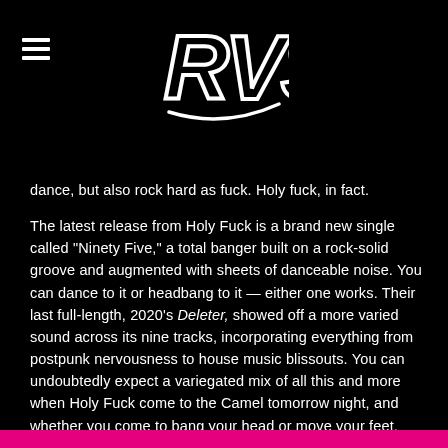[Figure (logo): RVS logo in white outline style on black background, stylized letters with decorative swoosh]
dance, but also rock hard as fuck. Holy fuck, in fact.
The latest release from Holy Fuck is a brand new single called “Ninety Five,” a total banger built on a rock-solid groove and augmented with sheets of danceable noise. You can dance to it or headbang to it — either one works. Their last full-length, 2020’s Deleter, showed off a more varied sound across its nine tracks, incorporating everything from postpunk nervousness to house music blissouts. You can undoubtedly expect a variegated mix of all this and more when Holy Fuck come to the Camel tomorrow night, and whether you come to bang your head or move your feet, they’re sure to supply you with a perfect soundtrack.